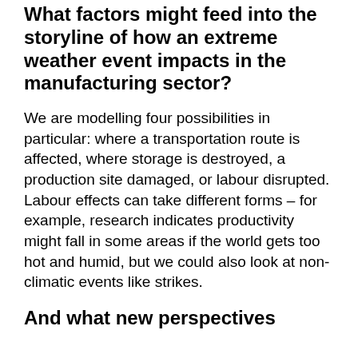What factors might feed into the storyline of how an extreme weather event impacts in the manufacturing sector?
We are modelling four possibilities in particular: where a transportation route is affected, where storage is destroyed, a production site damaged, or labour disrupted. Labour effects can take different forms – for example, research indicates productivity might fall in some areas if the world gets too hot and humid, but we could also look at non-climatic events like strikes.
And what new perspectives